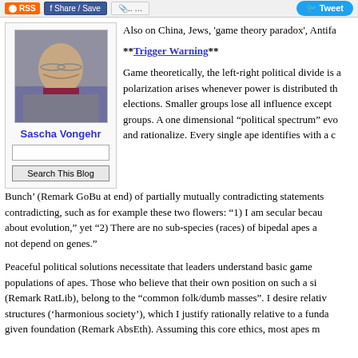RSS | Share/Save | Tweet
[Figure (photo): Portrait photo of Sascha Vongehr, a man with glasses]
Sascha Vongehr
Search This Blog
Also on China, Jews, 'game theory paradox', Antifa...
**Trigger Warning**
Game theoretically, the left-right political divide is a... polarization arises whenever power is distributed through elections. Smaller groups lose all influence except... groups. A one dimensional "political spectrum" evo... and rationalize. Every single ape identifies with a c... Bunch' (Remark GoBu at end) of partially mutually contradicting statements... contradicting, such as for example these two flowers: "1) I am secular beca... about evolution," yet "2) There are no sub-species (races) of bipedal apes a... not depend on genes."
Peaceful political solutions necessitate that leaders understand basic game... populations of apes. Those who believe that their own position on such a si... (Remark RatLib), belong to the "common folk/dumb masses". I desire relativ... structures ('harmonious society'), which I justify rationally relative to a fund... given foundation (Remark AbsEth). Assuming this core ethics, most apes m...